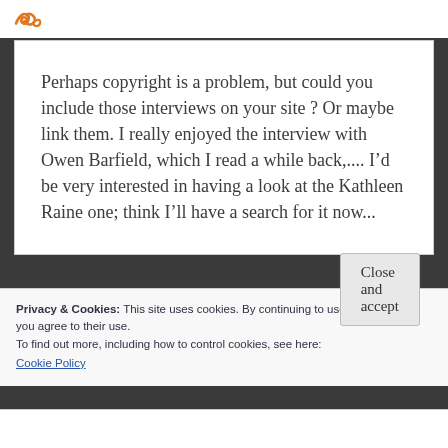[Figure (logo): Orange decorative logo/icon at top left]
Perhaps copyright is a problem, but could you include those interviews on your site ? Or maybe link them. I really enjoyed the interview with Owen Barfield, which I read a while back,.... I’d be very interested in having a look at the Kathleen Raine one; think I’ll have a search for it now...
Privacy & Cookies: This site uses cookies. By continuing to use this website, you agree to their use.
To find out more, including how to control cookies, see here:
Cookie Policy
Close and accept